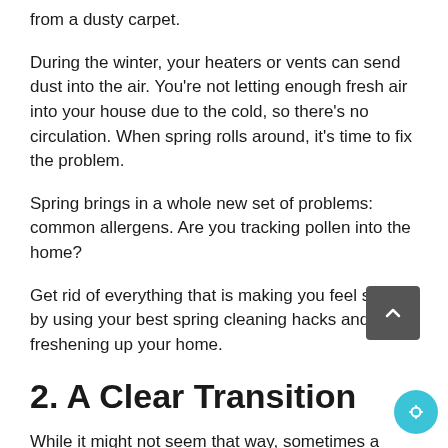from a dusty carpet.
During the winter, your heaters or vents can send dust into the air. You’re not letting enough fresh air into your house due to the cold, so there’s no circulation. When spring rolls around, it’s time to fix the problem.
Spring brings in a whole new set of problems: common allergens. Are you tracking pollen into the home?
Get rid of everything that is making you feel stuffy by using your best spring cleaning hacks and freshening up your home.
2. A Clear Transition
While it might not seem that way, sometimes a clear transition into the new season is great for your mental health.